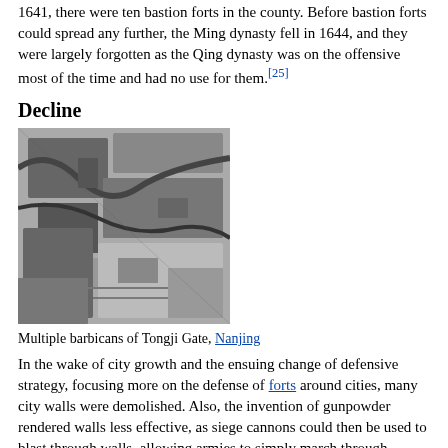1641, there were ten bastion forts in the county. Before bastion forts could spread any further, the Ming dynasty fell in 1644, and they were largely forgotten as the Qing dynasty was on the offensive most of the time and had no use for them.[25]
Decline
[Figure (photo): Black and white aerial photograph showing multiple barbicans of Tongji Gate, Nanjing]
Multiple barbicans of Tongji Gate, Nanjing
In the wake of city growth and the ensuing change of defensive strategy, focusing more on the defense of forts around cities, many city walls were demolished. Also, the invention of gunpowder rendered walls less effective, as siege cannons could then be used to blast through walls, allowing armies to simply march through. Today, the presence of former city fortifications can often only be deduced from the presence of ditches, ring roads or parks.
Furthermore, some street names hint at the presence of